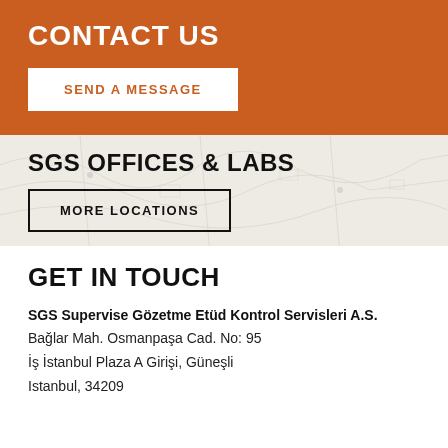CONTACT US
SEND A MESSAGE
SGS OFFICES & LABS
MORE LOCATIONS
GET IN TOUCH
SGS Supervise Gözetme Etüd Kontrol Servisleri A.S.
Bağlar Mah. Osmanpaşa Cad. No: 95
İş İstanbul Plaza A Girişi, Güneşli
Istanbul, 34209